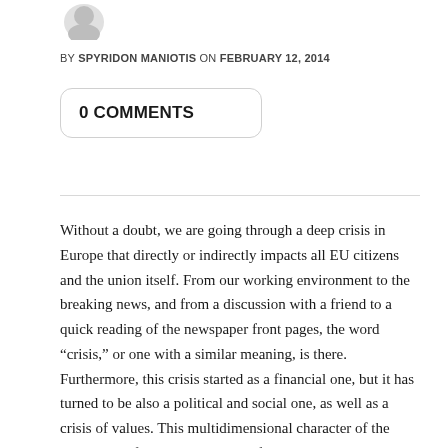[Figure (illustration): Author avatar image, partially visible at top]
BY SPYRIDON MANIOTIS ON FEBRUARY 12, 2014
0 COMMENTS
Without a doubt, we are going through a deep crisis in Europe that directly or indirectly impacts all EU citizens and the union itself. From our working environment to the breaking news, and from a discussion with a friend to a quick reading of the newspaper front pages, the word “crisis,” or one with a similar meaning, is there. Furthermore, this crisis started as a financial one, but it has turned to be also a political and social one, as well as a crisis of values. This multidimensional character of the crisis has definitely made most of us think about what its reason is, how it started, how we can escape it, and whether we are responsible ourselves? To the questions above, many analysts, politicians, philosophers and other “experts” in the